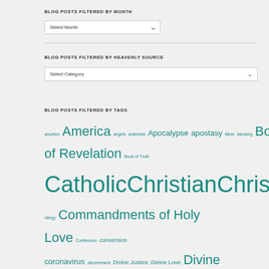BLOG POSTS FILTERED BY MONTH
Select Month (dropdown)
BLOG POSTS FILTERED BY HEAVENLY SOURCE
Select Category (dropdown)
BLOG POSTS FILTERED BY TAGS
abortion America angels antichrist Apocalypse apostasy Bible blessing Book of Revelation Book of Truth Catholic Christian Christianity clergy Commandments of Holy Love Confession conversion coronavirus discernment Divine Justice Divine Love Divine Mercy